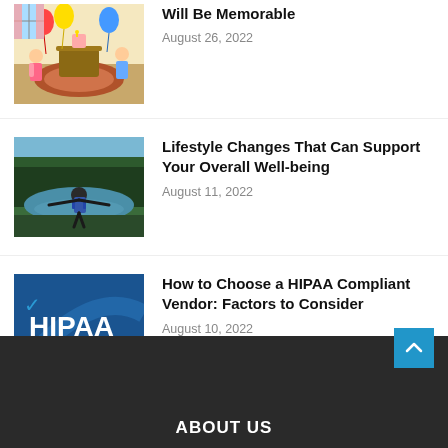[Figure (illustration): Children's birthday party cartoon illustration]
Will Be Memorable
August 26, 2022
[Figure (photo): Person with backpack looking at a lake surrounded by forest]
Lifestyle Changes That Can Support Your Overall Well-being
August 11, 2022
[Figure (logo): HIPAA logo on blue background]
How to Choose a HIPAA Compliant Vendor: Factors to Consider
August 10, 2022
ABOUT US